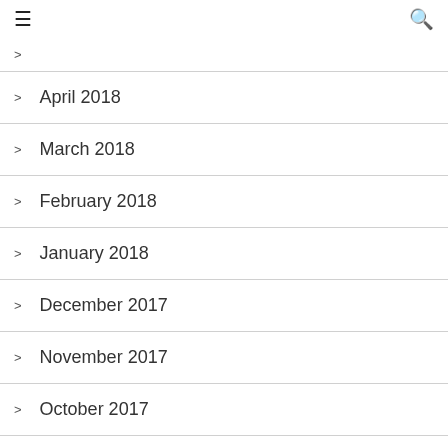≡  🔍
April 2018
March 2018
February 2018
January 2018
December 2017
November 2017
October 2017
September 2017
August 2017